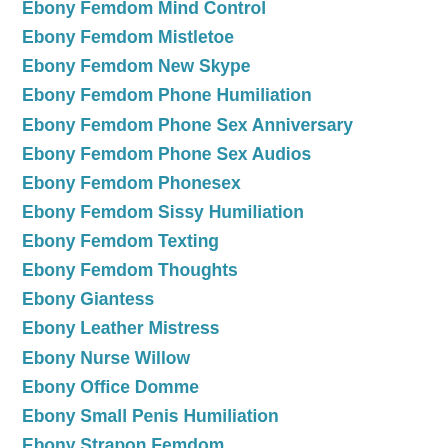Ebony Femdom Mind Control
Ebony Femdom Mistletoe
Ebony Femdom New Skype
Ebony Femdom Phone Humiliation
Ebony Femdom Phone Sex Anniversary
Ebony Femdom Phone Sex Audios
Ebony Femdom Phonesex
Ebony Femdom Sissy Humiliation
Ebony Femdom Texting
Ebony Femdom Thoughts
Ebony Giantess
Ebony Leather Mistress
Ebony Nurse Willow
Ebony Office Domme
Ebony Small Penis Humiliation
Ebony Strapon Femdom
Ebony Submissive
Ebony Succubus
Ebony Witch Conjurer